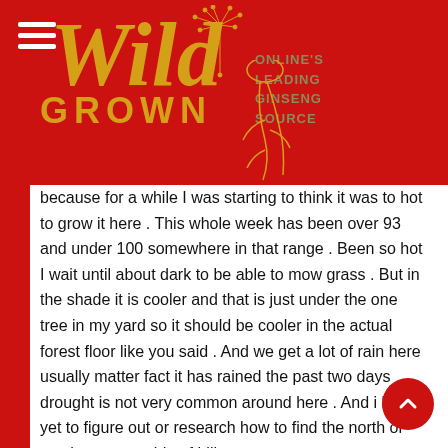[Figure (logo): Wild Grown logo on red background with hamburger menu, cursive 'Wild' text in gold, 'GROWN' in gold letters, tagline 'ONLINE'S LEADING GINSENG SOURCE' in olive, decorative dandelion and ginseng root illustrations]
because for a while I was starting to think it was to hot to grow it here . This whole week has been over 93 and under 100 somewhere in that range . Been so hot I wait until about dark to be able to mow grass . But in the shade it is cooler and that is just under the one tree in my yard so it should be cooler in the actual forest floor like you said . And we get a lot of rain here usually matter fact it has rained the past two days drought is not very common around here . And i have yet to figure out or research how to find the north or south or no so side of hills or